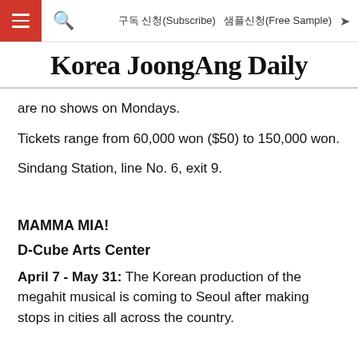Korea JoongAng Daily — 구독 신청(Subscribe) 샘플신청(Free Sample)
Korea JoongAng Daily
are no shows on Mondays.
Tickets range from 60,000 won ($50) to 150,000 won.
Sindang Station, line No. 6, exit 9.
MAMMA MIA!
D-Cube Arts Center
April 7 - May 31: The Korean production of the megahit musical is coming to Seoul after making stops in cities all across the country.